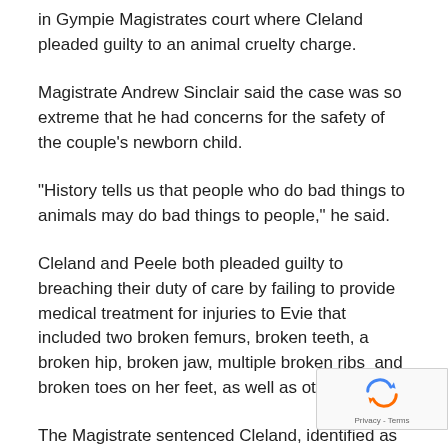in Gympie Magistrates court where Cleland pleaded guilty to an animal cruelty charge.
Magistrate Andrew Sinclair said the case was so extreme that he had concerns for the safety of the couple's newborn child.
"History tells us that people who do bad things to animals may do bad things to people," he said.
Cleland and Peele both pleaded guilty to breaching their duty of care by failing to provide medical treatment for injuries to Evie that included two broken femurs, broken teeth, a broken hip, broken jaw, multiple broken ribs  and broken toes on her feet, as well as other injuries.
The Magistrate sentenced Cleland, identified as the major offender because of the injuries he caused, to three years' probation and recommended anger management counselling. He said that if it were not for Cleland's young age, lack of criminal history, and the fact that he and Peele had a newborn baby,